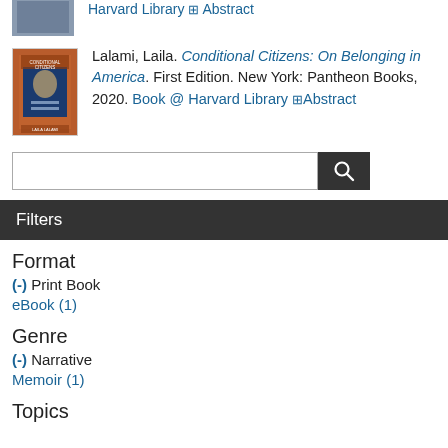[Figure (photo): Partial view of a book cover thumbnail at top of page, partially cropped]
Harvard Library [+] Abstract
[Figure (photo): Book cover of Conditional Citizens: On Belonging in America by Laila Lalami, orange/brown cover with a passport image]
Lalami, Laila. Conditional Citizens: On Belonging in America. First Edition. New York: Pantheon Books, 2020. Book @ Harvard Library [+] Abstract
[Figure (screenshot): Search bar with magnifying glass button]
Filters
Format
(-) Print Book
eBook (1)
Genre
(-) Narrative
Memoir (1)
Topics